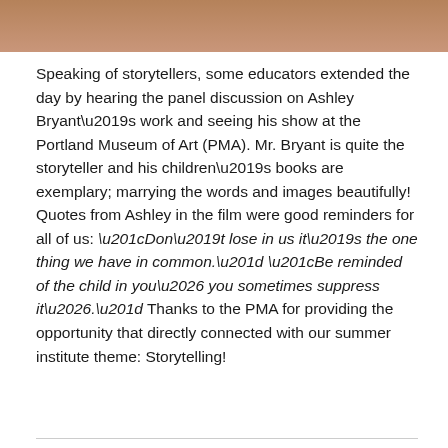[Figure (photo): Partial photo of what appears to be a wooden or brown-toned surface, cropped at the top of the page.]
Speaking of storytellers, some educators extended the day by hearing the panel discussion on Ashley Bryant’s work and seeing his show at the Portland Museum of Art (PMA). Mr. Bryant is quite the storyteller and his children’s books are exemplary; marrying the words and images beautifully! Quotes from Ashley in the film were good reminders for all of us: “Don’t lose in us it’s the one thing we have in common.” “Be reminded of the child in you… you sometimes suppress it….” Thanks to the PMA for providing the opportunity that directly connected with our summer institute theme: Storytelling!